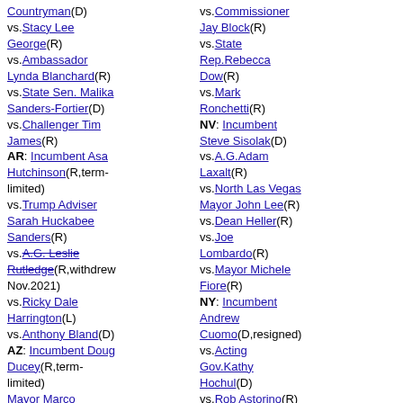Countryman(D) vs.Stacy Lee George(R) vs.Ambassador Lynda Blanchard(R) vs.State Sen. Malika Sanders-Fortier(D) vs.Challenger Tim James(R) AR: Incumbent Asa Hutchinson(R,term-limited) vs.Trump Adviser Sarah Huckabee Sanders(R) vs.A.G. Leslie Rutledge(R,withdrew Nov.2021) vs.Ricky Dale Harrington(L) vs.Anthony Bland(D) AZ: Incumbent Doug Ducey(R,term-limited) Mayor Marco Lopez(D) vs.Former news anchor Kari Lake(R) vs.Secretary of State Katie Hobbs(D) vs.State Treasurer Kimberly Yee(R)
vs.Commissioner Jay Block(R) vs.State Rep.Rebecca Dow(R) vs.Mark Ronchetti(R) NV: Incumbent Steve Sisolak(D) vs.A.G.Adam Laxalt(R) vs.North Las Vegas Mayor John Lee(R) vs.Dean Heller(R) vs.Joe Lombardo(R) vs.Mayor Michele Fiore(R) NY: Incumbent Andrew Cuomo(D,resigned) vs.Acting Gov.Kathy Hochul(D) vs.Rob Astorino(R) vs.Andrew Giuliani(R) vs.US.Rep.Lee Zeldin(R) vs.Tom Suozzi(D) vs.Attorney General Letitia